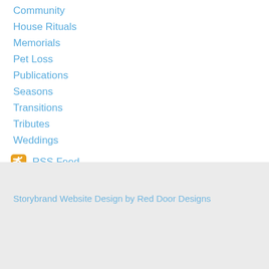Community
House Rituals
Memorials
Pet Loss
Publications
Seasons
Transitions
Tributes
Weddings
RSS Feed
Storybrand Website Design by Red Door Designs